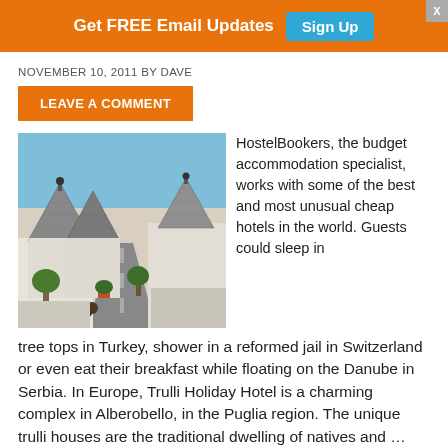Get FREE Email Updates  Sign Up
NOVEMBER 10, 2011 BY DAVE
LEAVE A COMMENT
[Figure (photo): Photo of Trulli houses in Alberobello, Italy — white conical-roofed stone buildings along a narrow road under a blue sky]
HostelBookers, the budget accommodation specialist, works with some of the best and most unusual cheap hotels in the world. Guests could sleep in tree tops in Turkey, shower in a reformed jail in Switzerland or even eat their breakfast while floating on the Danube in Serbia. In Europe, Trulli Holiday Hotel is a charming complex in Alberobello, in the Puglia region. The unique trulli houses are the traditional dwelling of natives and … [Read more...]